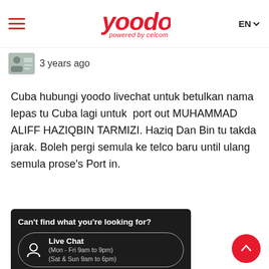yoodo powered by celcom | EN
3 years ago
Cuba hubungi yoodo livechat untuk betulkan nama lepas tu Cuba lagi untuk  port out MUHAMMAD ALIFF HAZIQBIN TARMIZI. Haziq Dan Bin tu takda jarak. Boleh pergi semula ke telco baru until ulang semula prose's Port in.
[Figure (screenshot): Dark contact card showing Live Chat (Mon - Fri 9am to 9pm)(Sat & Sun 9am to 6pm), WhatsApp (BETA) (Mon - Fri 9am to 9pm)(Sat & Sun 9am to 6pm), and Submit a ticket options on dark background]